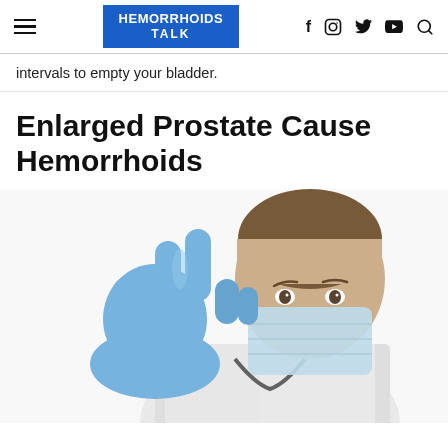HEMORRHOIDS TALK — navigation header with social icons
intervals to empty your bladder.
Enlarged Prostate Cause Hemorrhoids
[Figure (photo): A male doctor wearing a blue surgical glove, white coat, blue surgical mask, and stethoscope, holding up two fingers on a white background.]